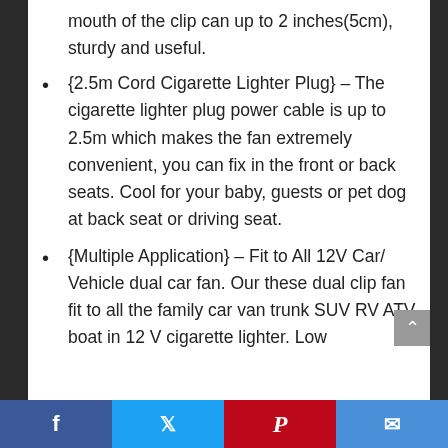mouth of the clip can up to 2 inches(5cm), sturdy and useful.
{2.5m Cord Cigarette Lighter Plug} – The cigarette lighter plug power cable is up to 2.5m which makes the fan extremely convenient, you can fix in the front or back seats. Cool for your baby, guests or pet dog at back seat or driving seat.
{Multiple Application} – Fit to All 12V Car/ Vehicle dual car fan. Our these dual clip fan fit to all the family car van trunk SUV RV ATV boat in 12 V cigarette lighter. Low